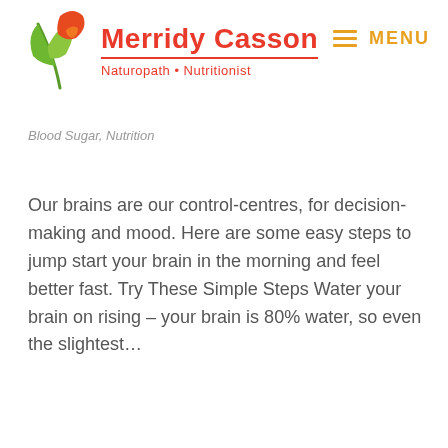Merridy Casson — Naturopath • Nutritionist
Blood Sugar, Nutrition
Our brains are our control-centres, for decision-making and mood. Here are some easy steps to jump start your brain in the morning and feel better fast. Try These Simple Steps Water your brain on rising – your brain is 80% water, so even the slightest...